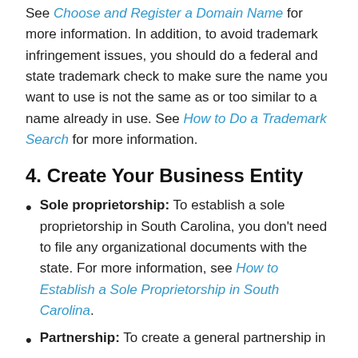See Choose and Register a Domain Name for more information. In addition, to avoid trademark infringement issues, you should do a federal and state trademark check to make sure the name you want to use is not the same as or too similar to a name already in use. See How to Do a Trademark Search for more information.
4. Create Your Business Entity
Sole proprietorship: To establish a sole proprietorship in South Carolina, you don't need to file any organizational documents with the state. For more information, see How to Establish a Sole Proprietorship in South Carolina.
Partnership: To create a general partnership in